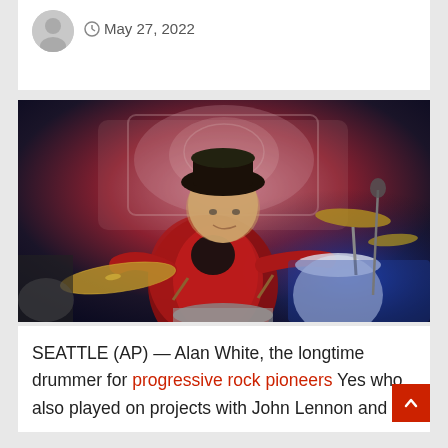May 27, 2022
[Figure (photo): Alan White, drummer for progressive rock band Yes, wearing a dark fedora hat and red patterned jacket, playing drums on stage with ornate pink/white decorative wall behind him and drum cymbals visible]
SEATTLE (AP) — Alan White, the longtime drummer for progressive rock pioneers Yes who also played on projects with John Lennon and